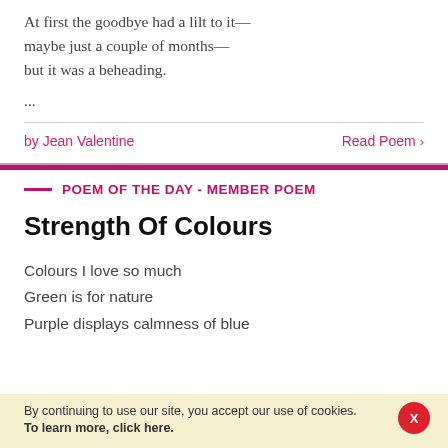At first the goodbye had a lilt to it—
maybe just a couple of months—
but it was a beheading.
...
by Jean Valentine
Read Poem
POEM OF THE DAY - MEMBER POEM
Strength Of Colours
Colours I love so much
Green is for nature
Purple displays calmness of blue
By continuing to use our site, you accept our use of cookies.
To learn more, click here.